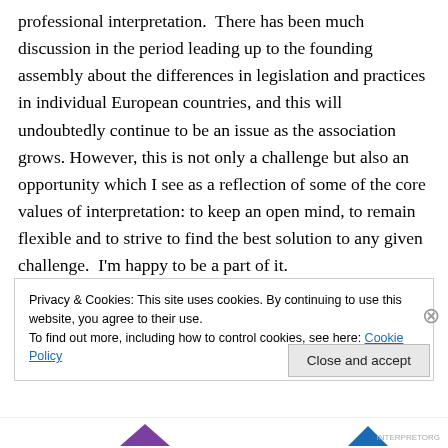professional interpretation.  There has been much discussion in the period leading up to the founding assembly about the differences in legislation and practices in individual European countries, and this will undoubtedly continue to be an issue as the association grows.  However, this is not only a challenge but also an opportunity which I see as a reflection of some of the core values of interpretation: to keep an open mind, to remain flexible and to strive to find the best solution to any given challenge.  I'm happy to be a part of it.
Privacy & Cookies: This site uses cookies. By continuing to use this website, you agree to their use. To find out more, including how to control cookies, see here: Cookie Policy
Close and accept